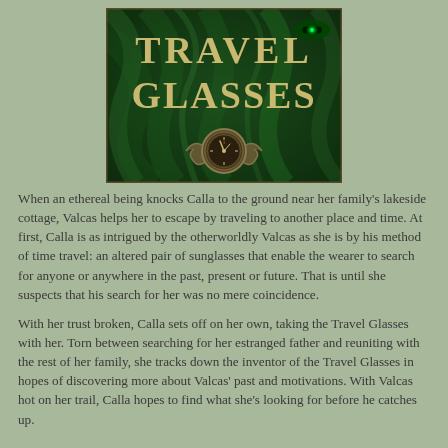[Figure (illustration): Book cover for 'Travel Glasses' showing ornate text 'TRAVEL GLASSES' in gold/cream letters on a dark green background with a decorative clock mechanism at the bottom center and a green glowing eye in the upper right corner.]
When an ethereal being knocks Calla to the ground near her family's lakeside cottage, Valcas helps her to escape by traveling to another place and time. At first, Calla is as intrigued by the otherworldly Valcas as she is by his method of time travel: an altered pair of sunglasses that enable the wearer to search for anyone or anywhere in the past, present or future. That is until she suspects that his search for her was no mere coincidence.
With her trust broken, Calla sets off on her own, taking the Travel Glasses with her. Torn between searching for her estranged father and reuniting with the rest of her family, she tracks down the inventor of the Travel Glasses in hopes of discovering more about Valcas' past and motivations. With Valcas hot on her trail, Calla hopes to find what she's looking for before he catches up.